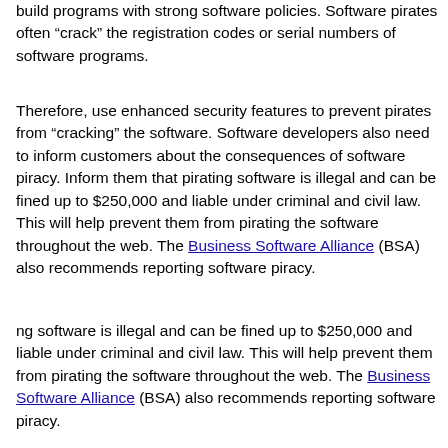build programs with strong software policies. Software pirates often “crack” the registration codes or serial numbers of software programs.
Therefore, use enhanced security features to prevent pirates from “cracking” the software. Software developers also need to inform customers about the consequences of software piracy. Inform them that pirating software is illegal and can be fined up to $250,000 and liable under criminal and civil law. This will help prevent them from pirating the software throughout the web. The Business Software Alliance (BSA) also recommends reporting software piracy.
ng software is illegal and can be fined up to $250,000 and liable under criminal and civil law. This will help prevent them from pirating the software throughout the web. The Business Software Alliance (BSA) also recommends reporting software piracy.